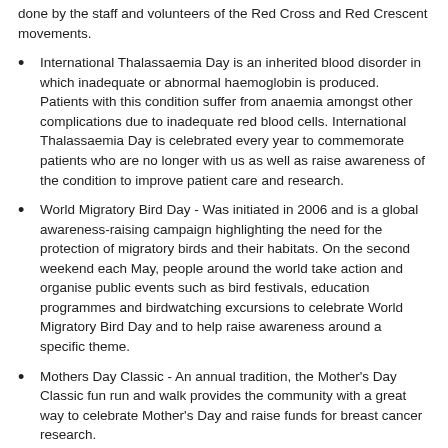done by the staff and volunteers of the Red Cross and Red Crescent movements.
International Thalassaemia Day is an inherited blood disorder in which inadequate or abnormal haemoglobin is produced. Patients with this condition suffer from anaemia amongst other complications due to inadequate red blood cells. International Thalassaemia Day is celebrated every year to commemorate patients who are no longer with us as well as raise awareness of the condition to improve patient care and research.
World Migratory Bird Day - Was initiated in 2006 and is a global awareness-raising campaign highlighting the need for the protection of migratory birds and their habitats. On the second weekend each May, people around the world take action and organise public events such as bird festivals, education programmes and birdwatching excursions to celebrate World Migratory Bird Day and to help raise awareness around a specific theme.
Mothers Day Classic - An annual tradition, the Mother's Day Classic fun run and walk provides the community with a great way to celebrate Mother's Day and raise funds for breast cancer research.